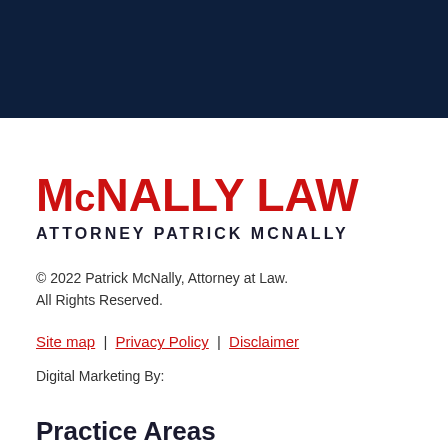McNALLY LAW
ATTORNEY PATRICK MCNALLY
© 2022 Patrick McNally, Attorney at Law.
All Rights Reserved.
Site map | Privacy Policy | Disclaimer
Digital Marketing By:
Practice Areas